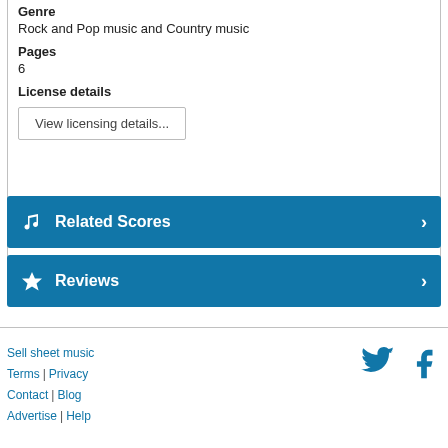Genre
Rock and Pop music and Country music
Pages
6
License details
View licensing details...
Related Scores
Reviews
Sell sheet music | Terms | Privacy | Contact | Blog | Advertise | Help